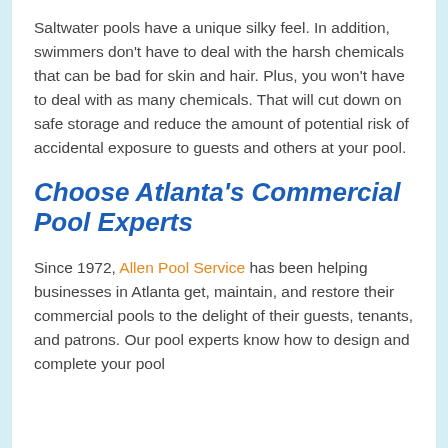Saltwater pools have a unique silky feel. In addition, swimmers don't have to deal with the harsh chemicals that can be bad for skin and hair. Plus, you won't have to deal with as many chemicals. That will cut down on safe storage and reduce the amount of potential risk of accidental exposure to guests and others at your pool.
Choose Atlanta's Commercial Pool Experts
Since 1972, Allen Pool Service has been helping businesses in Atlanta get, maintain, and restore their commercial pools to the delight of their guests, tenants, and patrons. Our pool experts know how to design and complete your pool